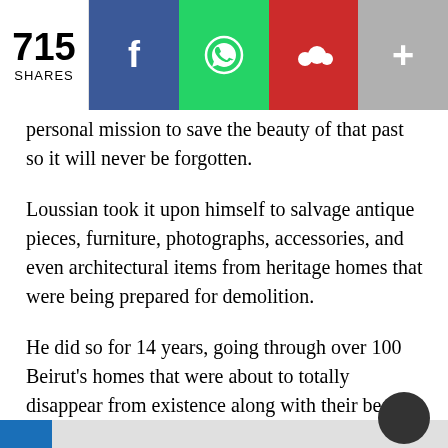[Figure (other): Social share bar with 715 shares count, Facebook (blue), WhatsApp (green), MySpace/people (red), and more (+) (gray) buttons]
personal mission to save the beauty of that past so it will never be forgotten.
Loussian took it upon himself to salvage antique pieces, furniture, photographs, accessories, and even architectural items from heritage homes that were being prepared for demolition.
He did so for 14 years, going through over 100 Beirut's homes that were about to totally disappear from existence along with their beauty.